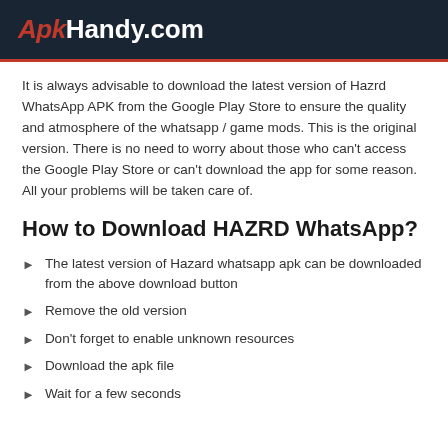ApkHandy.com
It is always advisable to download the latest version of Hazrd WhatsApp APK from the Google Play Store to ensure the quality and atmosphere of the whatsapp / game mods. This is the original version. There is no need to worry about those who can't access the Google Play Store or can't download the app for some reason. All your problems will be taken care of.
How to Download HAZRD WhatsApp?
The latest version of Hazard whatsapp apk can be downloaded from the above download button
Remove the old version
Don't forget to enable unknown resources
Download the apk file
Wait for a few seconds